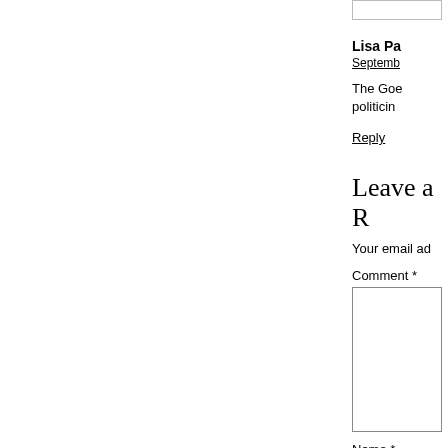Lisa Pa...
Septemb...
The Goe... politicin...
Reply
Leave a R...
Your email ad...
Comment *
Name *
Email *